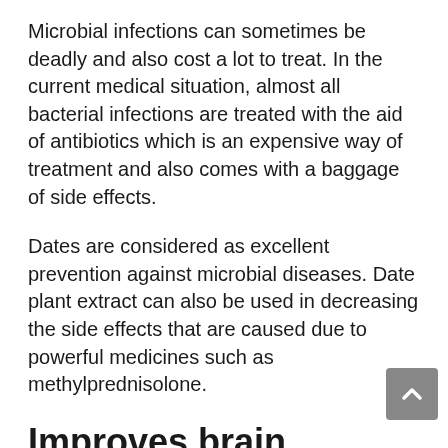Microbial infections can sometimes be deadly and also cost a lot to treat. In the current medical situation, almost all bacterial infections are treated with the aid of antibiotics which is an expensive way of treatment and also comes with a baggage of side effects.
Dates are considered as excellent prevention against microbial diseases. Date plant extract can also be used in decreasing the side effects that are caused due to powerful medicines such as methylprednisolone.
Improves brain functionality
Inflammatory cytokines such as interleukin